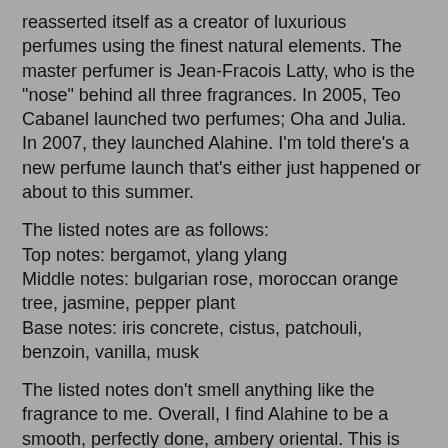reasserted itself as a creator of luxurious perfumes using the finest natural elements. The master perfumer is Jean-Fracois Latty, who is the "nose" behind all three fragrances. In 2005, Teo Cabanel launched two perfumes; Oha and Julia. In 2007, they launched Alahine. I'm told there's a new perfume launch that's either just happened or about to this summer.
The listed notes are as follows:
Top notes: bergamot, ylang ylang
Middle notes: bulgarian rose, moroccan orange tree, jasmine, pepper plant
Base notes: iris concrete, cistus, patchouli, benzoin, vanilla, musk
The listed notes don't smell anything like the fragrance to me. Overall, I find Alahine to be a smooth, perfectly done, ambery oriental. This is one of the rare times when I read other reviews of Alahine and wonder if there's something wrong with my nose. For me, Alahine opens with a burst of ever-so-slight citrus & floral notes, that are truly unrecognizable, I really can't pick out the bergamot or ylang